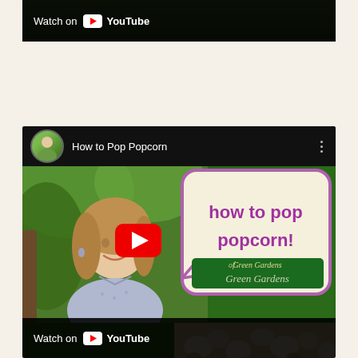[Figure (screenshot): Top portion of a YouTube video embed showing 'Watch on YouTube' bar at bottom, with green garden background thumbnail visible at top]
[Figure (screenshot): YouTube video embed titled 'How to Pop Popcorn' with channel avatar, woman smiling outdoors on left, speech bubble saying 'how to pop popcorn!' with Green Gardens logo, popcorn image on right, red play button overlay, and 'Watch on YouTube' bar at bottom]